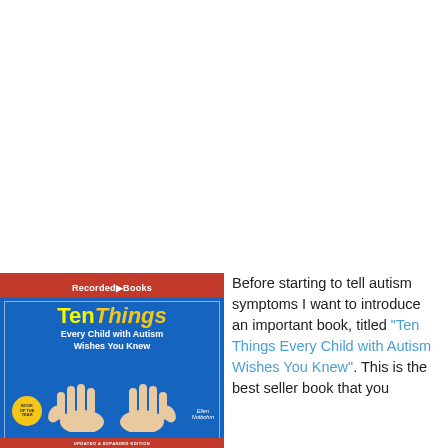[Figure (illustration): Book cover of 'Ten Things Every Child with Autism Wishes You Knew' published by Recorded Books, featuring a blue background with yellow and white title text, two hands forming a triangle shape, a gold Book of the Year badge, and author Ellen Notbohm name, with red top and bottom bars.]
Before starting to tell autism symptoms I want to introduce an important book, titled "Ten Things Every Child with Autism Wishes You Knew". This is the best seller book that you